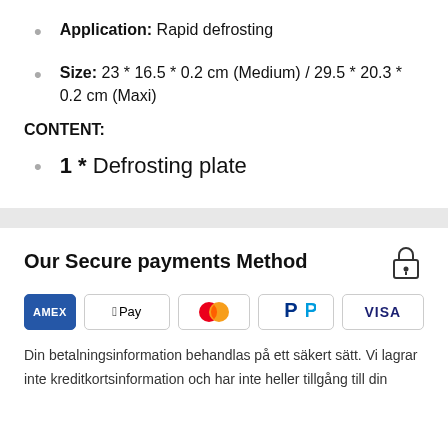Application: Rapid defrosting
Size: 23 * 16.5 * 0.2 cm (Medium) / 29.5 * 20.3 * 0.2 cm (Maxi)
CONTENT:
1 * Defrosting plate
Our Secure payments Method
[Figure (infographic): Payment method icons: American Express (AMEX), Apple Pay, Mastercard, PayPal, Visa]
Din betalningsinformation behandlas på ett säkert sätt. Vi lagrar inte kreditkortsinformation och har inte heller tillgång till din